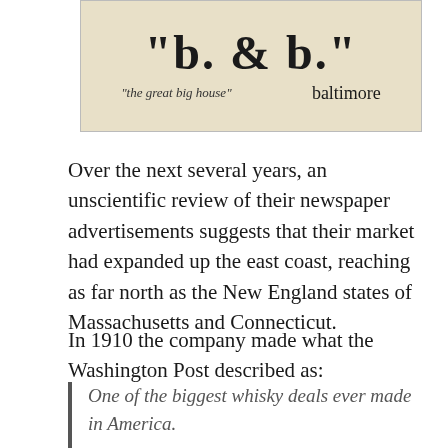[Figure (illustration): Advertisement image for 'b. & b.' with tagline 'the great big house' and location 'baltimore' on a cream/tan background]
Over the next several years, an unscientific review of their newspaper advertisements suggests that their market had expanded up the east coast, reaching as far north as the New England states of Massachusetts and Connecticut.
In 1910 the company made what the Washington Post described as:
One of the biggest whisky deals ever made in America.